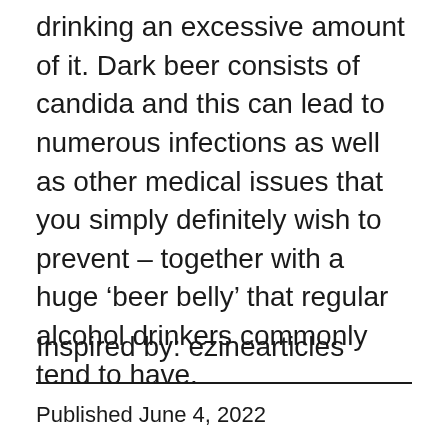drinking an excessive amount of it. Dark beer consists of candida and this can lead to numerous infections as well as other medical issues that you simply definitely wish to prevent – together with a huge ‘beer belly’ that regular alcohol drinkers commonly tend to have.
Inspired by: ezinearticles
Published June 4, 2022